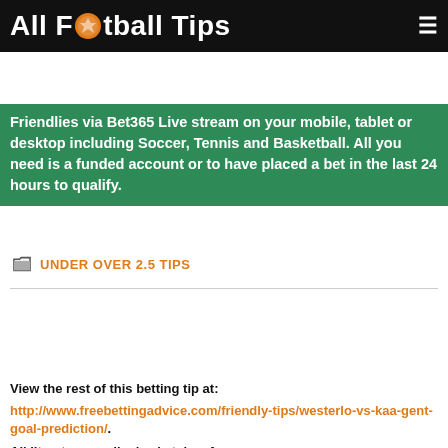All Football Tips
[Figure (screenshot): Green banner with white bold text: Friendlies via Bet365 Live stream on your mobile, tablet or desktop including Soccer, Tennis and Basketball. All you need is a funded account or to have placed a bet in the last 24 hours to qualify.]
UNDER OVER 2.5 TIPS
[Figure (photo): MarathonBet advertisement banner: Marathon Bet logo on white left panel, red diagonal bar, dark navy right panel with white bold text BETTER ODDS MEAN. +18 | begambleaware.org shown under logo.]
View the rest of this betting tip at: http://www.freebettingadvice.com/friendly-tips/westerlo-vs-kaa-gent-goal-prediction/. All literature on display is taken from http://www.freebettingadvice.com and all copyrights to it